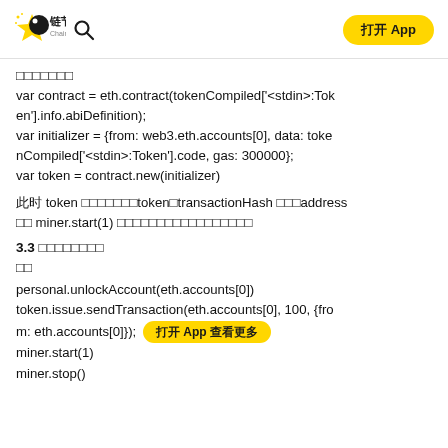链节点 ChainNode [search icon] 打开 App
□□□□□□□
var contract = eth.contract(tokenCompiled['<stdin>:Token'].info.abiDefinition);
var initializer = {from: web3.eth.accounts[0], data: tokenCompiled['<stdin>:Token'].code, gas: 300000};
var token = contract.new(initializer)
此时 token □□□□□□□token□transactionHash □□□address □□ miner.start(1) □□□□□□□□□□□□□□□□□
3.3 □□□□□□□□
□□
personal.unlockAccount(eth.accounts[0])
token.issue.sendTransaction(eth.accounts[0], 100, {from: eth.accounts[0]}); [打开 App 查看更多] 
miner.start(1)
miner.stop()